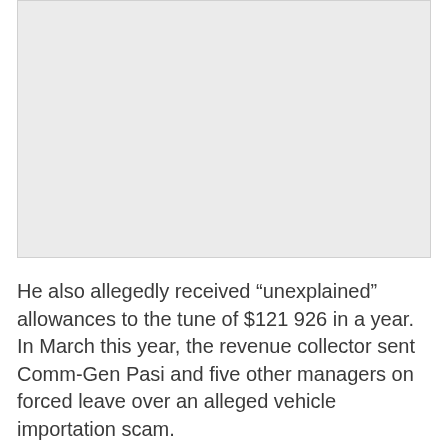[Figure (photo): Blank/empty image placeholder with light gray background]
He also allegedly received “unexplained” allowances to the tune of $121 926 in a year. In March this year, the revenue collector sent Comm-Gen Pasi and five other managers on forced leave over an alleged vehicle importation scam.